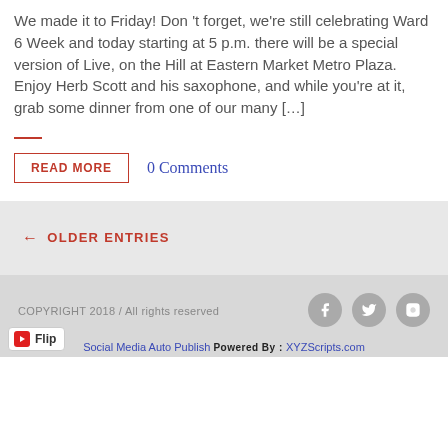We made it to Friday! Don 't forget, we're still celebrating Ward 6 Week and today starting at 5 p.m. there will be a special version of Live, on the Hill at Eastern Market Metro Plaza. Enjoy Herb Scott and his saxophone, and while you're at it, grab some dinner from one of our many […]
READ MORE
0 Comments
← OLDER ENTRIES
COPYRIGHT 2018 / All rights reserved
Social Media Auto Publish Powered By : XYZScripts.com